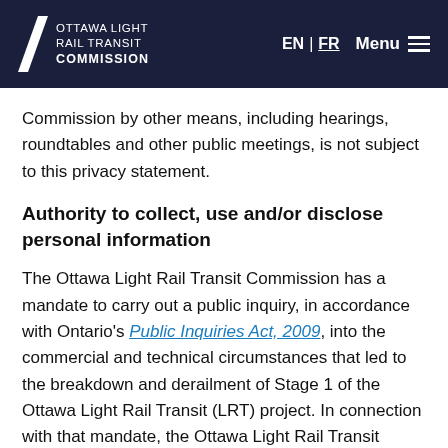OTTAWA LIGHT RAIL TRANSIT COMMISSION | EN | FR | Menu
Commission by other means, including hearings, roundtables and other public meetings, is not subject to this privacy statement.
Authority to collect, use and/or disclose personal information
The Ottawa Light Rail Transit Commission has a mandate to carry out a public inquiry, in accordance with Ontario's Public Inquiries Act, 2009, into the commercial and technical circumstances that led to the breakdown and derailment of Stage 1 of the Ottawa Light Rail Transit (LRT) project. In connection with that mandate, the Ottawa Light Rail Transit Commission may collect, use and/or disclose